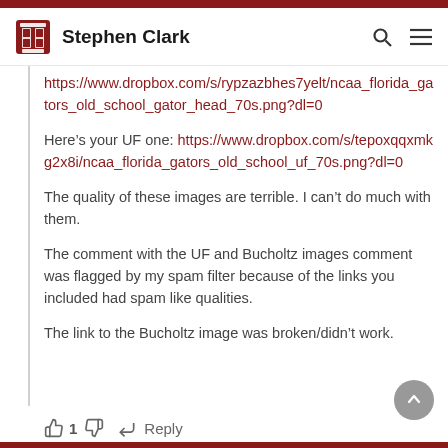Stephen Clark
https://www.dropbox.com/s/rypzazbhes7yelt/ncaa_florida_gators_old_school_gator_head_70s.png?dl=0
Here’s your UF one: https://www.dropbox.com/s/tepoxqqxmkg2x8i/ncaa_florida_gators_old_school_uf_70s.png?dl=0
The quality of these images are terrible. I can’t do much with them.
The comment with the UF and Bucholtz images comment was flagged by my spam filter because of the links you included had spam like qualities.
The link to the Bucholtz image was broken/didn’t work.